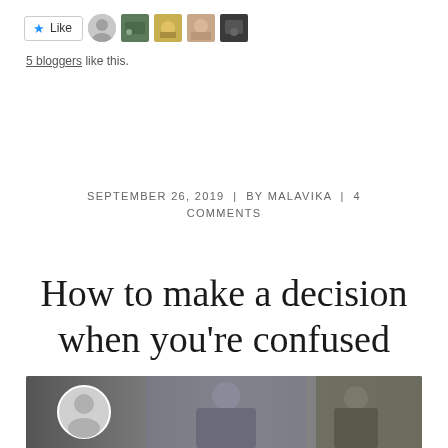[Figure (screenshot): Like button with star icon, a gray avatar circle, and four small thumbnail images of nature/animals]
5 bloggers like this.
SEPTEMBER 26, 2019  |  BY MALAVIKA  |  4 COMMENTS
How to make a decision when you’re confused
[Figure (photo): A partial photo strip at the bottom showing a round avatar and two people/figures in grayscale]